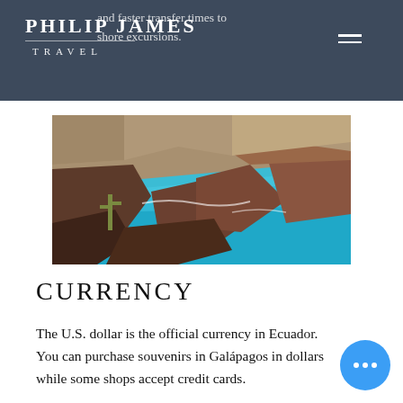and faster transfer times to shore excursions.
PHILIP JAMES TRAVEL
[Figure (photo): Aerial photo of Galápagos coastline with vivid turquoise water, dark volcanic rocks, and cacti on the shore]
CURRENCY
The U.S. dollar is the official currency in Ecuador. You can purchase souvenirs in Galápagos in dollars while some shops accept credit cards.